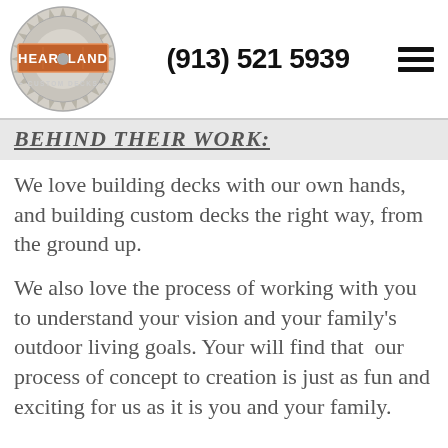[Figure (logo): Heartland Custom Decks circular saw blade logo with orange banner]
(913) 521 5939
BEHIND THEIR WORK:
We love building decks with our own hands, and building custom decks the right way, from the ground up.
We also love the process of working with you to understand your vision and your family’s outdoor living goals. Your will find that  our process of concept to creation is just as fun and exciting for us as it is you and your family.